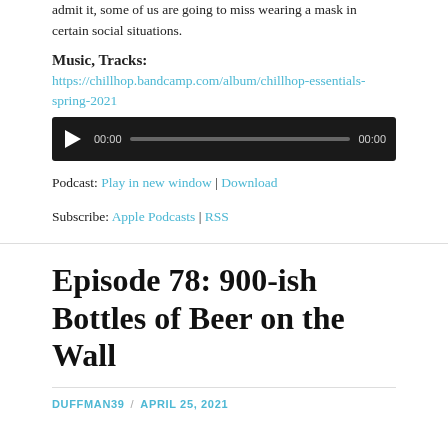admit it, some of us are going to miss wearing a mask in certain social situations.
Music, Tracks:
https://chillhop.bandcamp.com/album/chillhop-essentials-spring-2021
[Figure (other): Audio player widget with play button, timestamp 00:00, progress bar, and end time 00:00 on a dark background]
Podcast: Play in new window | Download
Subscribe: Apple Podcasts | RSS
Episode 78: 900-ish Bottles of Beer on the Wall
DUFFMAN39 / APRIL 25, 2021